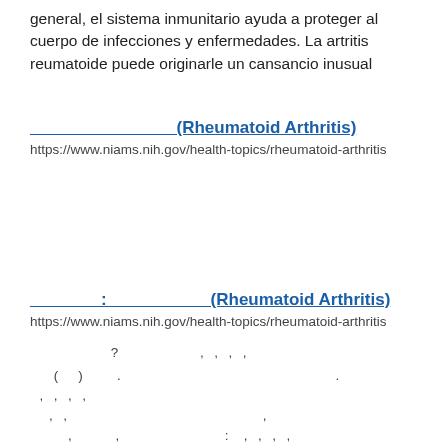general, el sistema inmunitario ayuda a proteger al cuerpo de infecciones y enfermedades. La artritis reumatoide puede originarle un cansancio inusual
_______________ (Rheumatoid Arthritis)
https://www.niams.nih.gov/health-topics/rheumatoid-arthritis
_______ : __________ (Rheumatoid Arthritis)
https://www.niams.nih.gov/health-topics/rheumatoid-arthritis
? , , , ,
( ) . .
, , , ,
, ,
, , , , , , ,
.
.